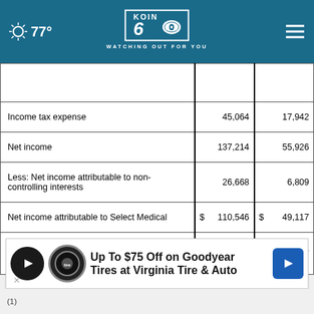[Figure (screenshot): KOIN 6 CBS news website top navigation bar showing weather (77°), KOIN6 logo with 'WATCHING OUT FOR YOU' tagline, and hamburger menu]
|  | Col1 | Col2 |
| --- | --- | --- |
|  |  |  |
| Income tax expense | 45,064 | 17,942 |
| Net income | 137,214 | 55,926 |
| Less: Net income attributable to non-controlling interests | 26,668 | 6,809 |
| Net income attributable to Select Medical | $ 110,546 | $ 49,117 |
| Basic and diluted earnings per common share:(1) | $ 0.82 | $ 0.37 |
[Figure (screenshot): Advertisement banner: 'Up To $75 Off on Goodyear Tires at Virginia Tire & Auto' with tire logo and blue arrow icon]
(1)